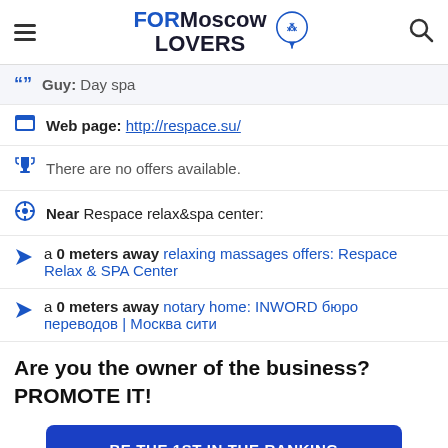FOR Moscow LOVERS
Guy: Day spa
Web page: http://respace.su/
There are no offers available.
Near Respace relax&spa center:
a 0 meters away relaxing massages offers: Respace Relax & SPA Center
a 0 meters away notary home: INWORD бюро переводов | Москва сити
Are you the owner of the business? PROMOTE IT!
BE THE 1ST IN THE RANKING